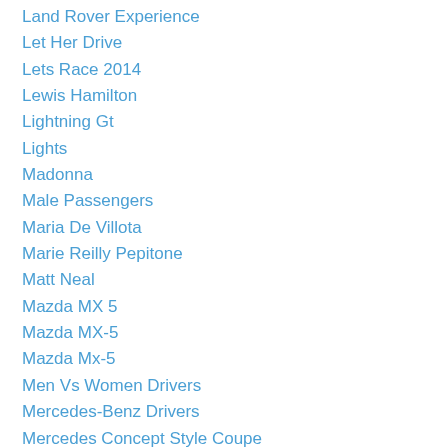Land Rover Experience
Let Her Drive
Lets Race 2014
Lewis Hamilton
Lightning Gt
Lights
Madonna
Male Passengers
Maria De Villota
Marie Reilly Pepitone
Matt Neal
Mazda MX 5
Mazda MX-5
Mazda Mx-5
Men Vs Women Drivers
Mercedes-Benz Drivers
Mercedes Concept Style Coupe
Mercedes Sl65 Amg V12 Roadster
Messerschmitt
Mg
MG Magnette